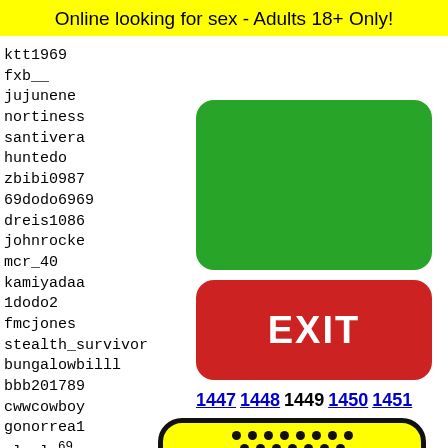Online looking for sex - Adults 18+ Only!
ktt1969
fxb__
jujunene
nortiness
santivera
huntedo
zbibi0987
69dodo6969
dreis1086
johnrocke
mcr_40
kamiyadaa
1dodo2
fmcjones
stealth_survivor
bungalowbilll
bbb201789
cwwcowboy
gonorrea1
zlozla69
daveci
pedro6
evilsa
pete84
hghuio
corbie
[Figure (other): Green rounded rectangle button]
[Figure (other): Red EXIT button]
1447 1448 1449 1450 1451
[Figure (illustration): Snapchat ghost logo on yellow rounded background with black dots pattern]